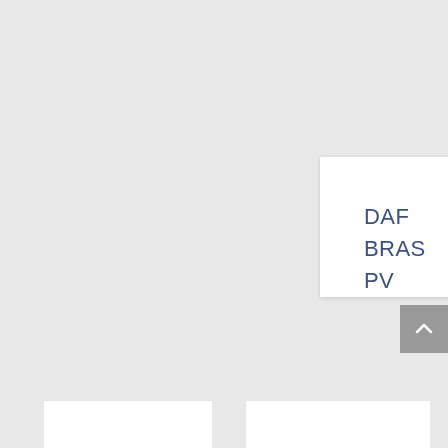[Figure (other): White card panel with text 'DAF BRAS PV' in dark blue sans-serif font, positioned in upper right area on a light gray background]
[Figure (other): Gray scroll-to-top button with upward chevron arrow icon, positioned at right edge]
[Figure (other): Three partially visible white card panels at the bottom of the page]